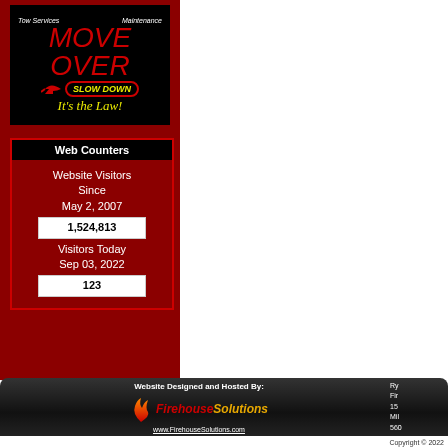[Figure (illustration): Move Over Slow Down campaign banner on black background: red MOVE OVER text, yellow SLOW DOWN in oval, red arrow, yellow 'It's the Law!' text, with 'Tow Services' and 'Maintenance' labels at top]
Web Counters
Website Visitors Since May 2, 2007
1,524,813

Visitors Today Sep 03, 2022
123
Website Designed and Hosted By:
www.FirehouseSolutions.com
[Figure (logo): FirehouseSolutions logo with flame icon, red 'Firehouse' and yellow 'Solutions' text]
Ry
Fir
15
Mil
560
Copyright © 2022